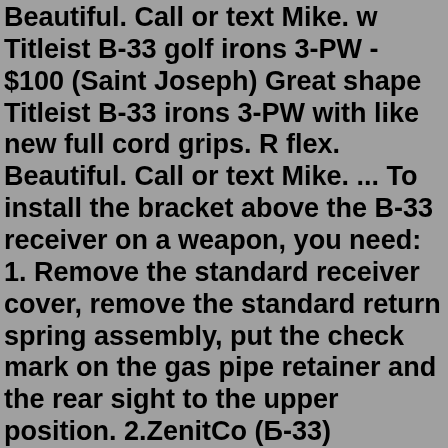Beautiful. Call or text Mike. w Titleist B-33 golf irons 3-PW - $100 (Saint Joseph) Great shape Titleist B-33 irons 3-PW with like new full cord grips. R flex. Beautiful. Call or text Mike. ... To install the bracket above the B-33 receiver on a weapon, you need: 1. Remove the standard receiver cover, remove the standard return spring assembly, put the check mark on the gas pipe retainer and the rear sight to the upper position. 2.ZenitCo (Б-33) Russian Made This is the masterpiece from ZenitCo: B-33 railed receiver cover. The ultimate solution for mounting any optics on AK. It's guaranteed to hold zero after multiple openings and rough handling. The only railed dust cover on the market, that holds zero all the time and doesn't require to remove rear iron sight from the rifle. Requires ZenitCo lower handguard (B-10 ...The Zenit B10M rail is designed for AK47 and AK74 clones with stamped receivers. Works with B19N (low profile top section). B10M allows also installation of railed dust cover B33 . This is exclusive version with AKOU logo. WARNING: This product can expose